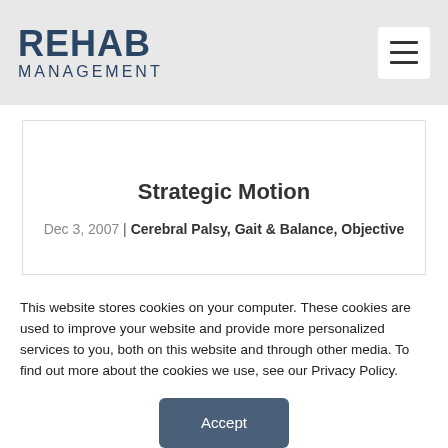REHAB MANAGEMENT
Strategic Motion
Dec 3, 2007 | Cerebral Palsy, Gait & Balance, Objective
This website stores cookies on your computer. These cookies are used to improve your website and provide more personalized services to you, both on this website and through other media. To find out more about the cookies we use, see our Privacy Policy.
Accept